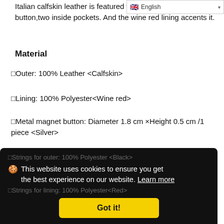English (language selector)
Italian calfskin leather is featured with silver magnet button,two inside pockets. And the wine red lining accents it.
Material
□Outer: 100% Leather <Calfskin>
□Lining: 100% Polyester<Wine red>
□Metal magnet button: Diameter 1.8 cm ×Height 0.5 cm /1 piece <Silver>
□Strings for outer: 100% Polyester <Black>
□Strings for lining: 100% Polyester<Red>
🍪 This website uses cookies to ensure you get the best experience on our website. Learn more
Got it!
Contact Us